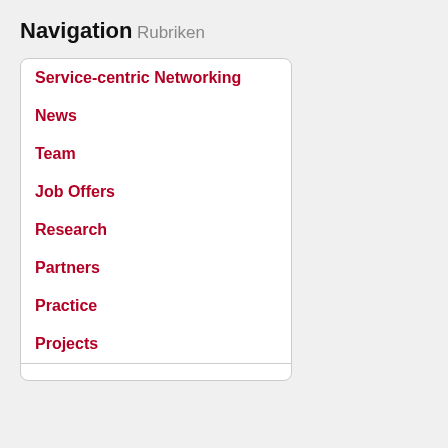Navigation
Rubriken
Service-centric Networking
News
Team
Job Offers
Research
Partners
Practice
Projects